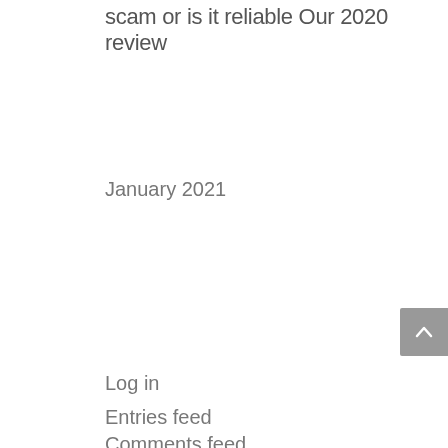scam or is it reliable Our 2020 review
January 2021
Log in
Entries feed
Comments feed